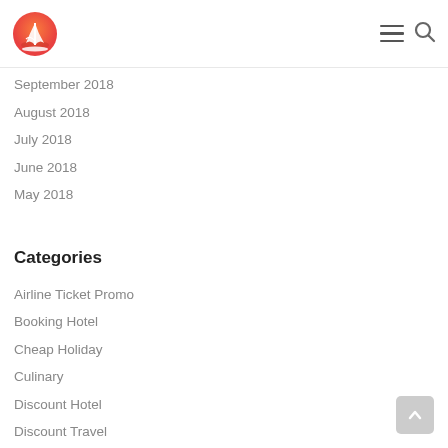Travel blog logo with navigation icons
September 2018
August 2018
July 2018
June 2018
May 2018
Categories
Airline Ticket Promo
Booking Hotel
Cheap Holiday
Culinary
Discount Hotel
Discount Travel
Domestic Promo
Family Trip
Family Trip
Flight Travel Essentials